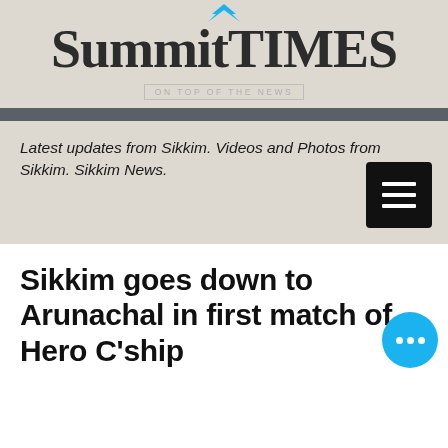SummitTIMES
ON TOP OF THE NEWS
Latest updates from Sikkim. Videos and Photos from Sikkim. Sikkim News.
Sikkim goes down to Arunachal in first match of Hero C'ship